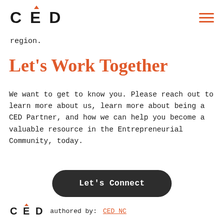CED [logo with hamburger menu]
region.
Let's Work Together
We want to get to know you. Please reach out to learn more about us, learn more about being a CED Partner, and how we can help you become a valuable resource in the Entrepreneurial Community, today.
Let's Connect
CED  authored by: CED NC